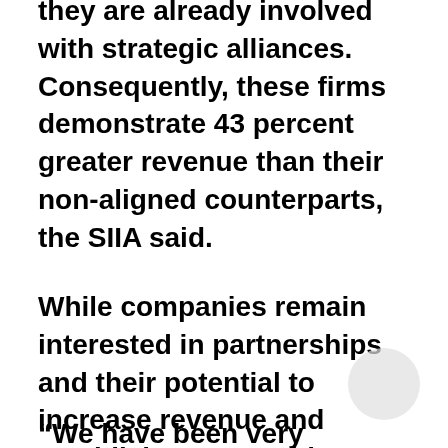they are already involved with strategic alliances. Consequently, these firms demonstrate 43 percent greater revenue than their non-aligned counterparts, the SIIA said.
While companies remain interested in partnerships and their potential to increase revenue and establish a competitive advantage, most alliances fail to meet expectations. Many of them miss the opportunity to maximise adoption of the alliance outcome or product, said Tim Curley, managing partner of Partner Alliances.
“We have been very successful in this space